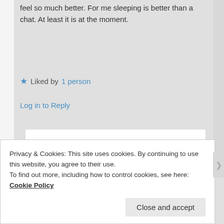feel so much better. For me sleeping is better than a chat. At least it is at the moment.
★ Liked by 1 person
Log in to Reply
Jim Simmonds on May 3, 2020 at 2:17 am said:
That's great about the sleep, whatever works for you, that's the
Privacy & Cookies: This site uses cookies. By continuing to use this website, you agree to their use.
To find out more, including how to control cookies, see here: Cookie Policy
Close and accept